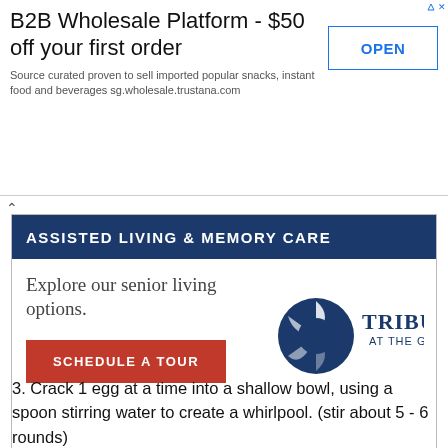[Figure (infographic): Advertisement banner: B2B Wholesale Platform - $50 off your first order, with an OPEN button and subtext about imported snacks and beverages from sg.wholesale.trustana.com]
[Figure (infographic): Assisted Living & Memory Care advertisement for Tribute at the Glen, featuring a Schedule a Tour button and the Tribute logo]
Sponsored by community.cadencesl.com
3. Crack 1 egg at a time into a shallow bowl, using a spoon stirring water to create a whirlpool. (stir about 5 - 6 rounds)